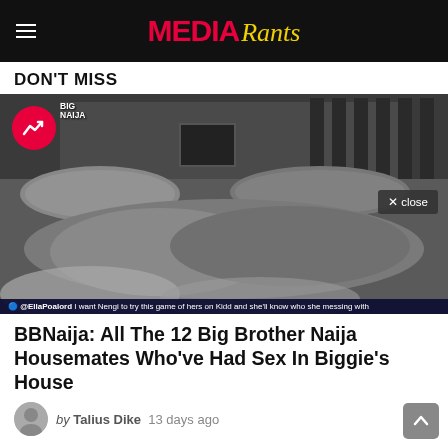MEDIA Rants
DON'T MISS
[Figure (photo): Grayscale night-vision style photo of a bedroom with a bed covered by crumpled sheets, with a BBNaija watermark and a social media ticker at the bottom]
BBNaija: All The 12 Big Brother Naija Housemates Who've Had Sex In Biggie's House
by Talius Dike  13 days ago